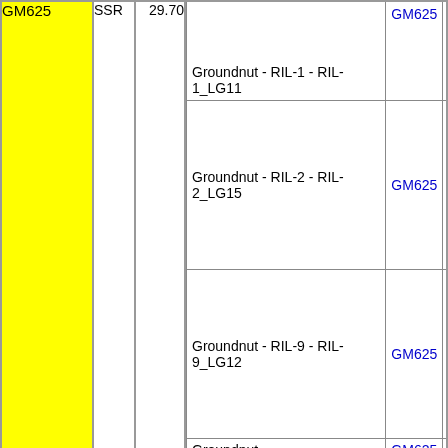| Marker | Type | Position | Map | Gene | Type2 |
| --- | --- | --- | --- | --- | --- |
| GM625 | SSR | 29.70 | Groundnut - RIL-1 - RIL-1_LG11 (partial top) | GM625 | SSR |
|  |  |  | Groundnut - RIL-2 - RIL-2_LG15 | GM625 | SSR |
|  |  |  | Groundnut - RIL-9 - RIL-9_LG12 | GM625 | SSR |
|  |  |  | Groundnut - combined_corresponding_b02 - RIL-10_LG12 | GM625 | SSR |